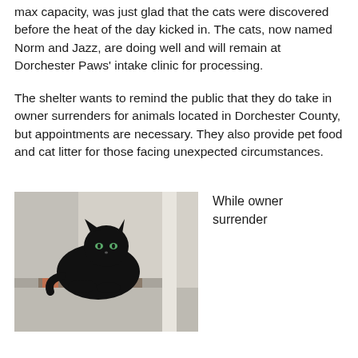max capacity, was just glad that the cats were discovered before the heat of the day kicked in. The cats, now named Norm and Jazz, are doing well and will remain at Dorchester Paws' intake clinic for processing.
The shelter wants to remind the public that they do take in owner surrenders for animals located in Dorchester County, but appointments are necessary. They also provide pet food and cat litter for those facing unexpected circumstances.
[Figure (photo): A black cat sitting on a surface inside what appears to be a shelter enclosure or room with white/light grey walls.]
While owner surrender